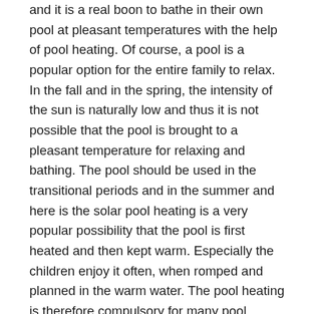and it is a real boon to bathe in their own pool at pleasant temperatures with the help of pool heating. Of course, a pool is a popular option for the entire family to relax. In the fall and in the spring, the intensity of the sun is naturally low and thus it is not possible that the pool is brought to a pleasant temperature for relaxing and bathing. The pool should be used in the transitional periods and in the summer and here is the solar pool heating is a very popular possibility that the pool is first heated and then kept warm. Especially the children enjoy it often, when romped and planned in the warm water. The pool heating is therefore compulsory for many pool owners. If you have some manual skills, you can even take care of the setup yourself. With the solar pool heating, there is the possibility that the pool with the solar energy is heated favorably. Electric heaters are saved and a share is